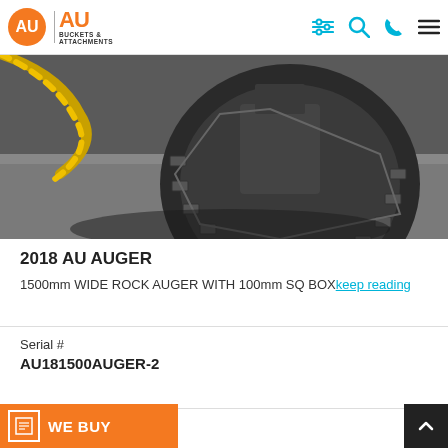AU Buckets & Attachments — navigation header
[Figure (photo): Close-up photo of a 2018 AU Rock Auger attachment showing large circular auger bit with carbide teeth on dark ground.]
2018 AU AUGER
1500mm WIDE ROCK AUGER WITH 100mm SQ BOX keep reading
Serial #
AU181500AUGER-2
Year
2018
Invoice #
00AUGER-2